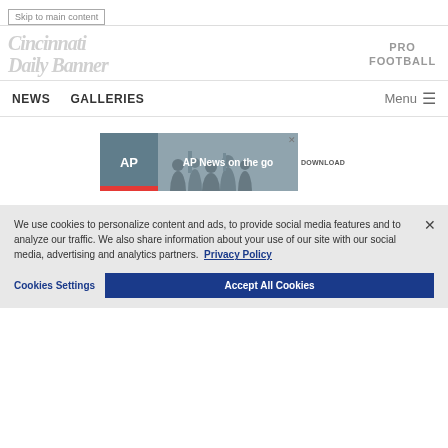Skip to main content
Cincinnati Daily Banner — PRO FOOTBALL
NEWS   GALLERIES   Menu
[Figure (screenshot): AP News on the go advertisement banner with download button and close (X) button]
We use cookies to personalize content and ads, to provide social media features and to analyze our traffic. We also share information about your use of our site with our social media, advertising and analytics partners. Privacy Policy
Cookies Settings   Accept All Cookies